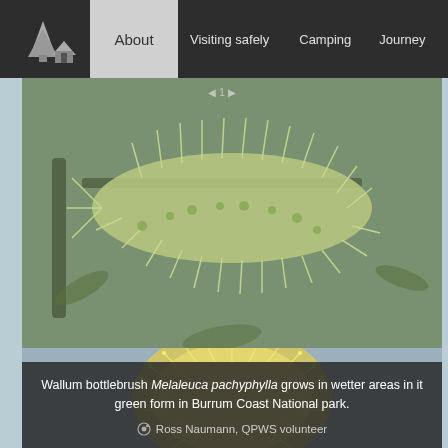About | Visiting safely | Camping | Journey
[Figure (photo): Wallum bottlebrush Melaleuca pachyphylla plant with green spiky flower spikes and foliage, in a wetter area of Burrum Coast National Park]
Wallum bottlebrush Melaleuca pachyphylla grows in wetter areas in it green form in Burrum Coast National park.
📷 Ross Naumann, QPWS volunteer
[Figure (photo): Close-up of a yellow bottlebrush flower spike, showing dense yellow-cream stamens]